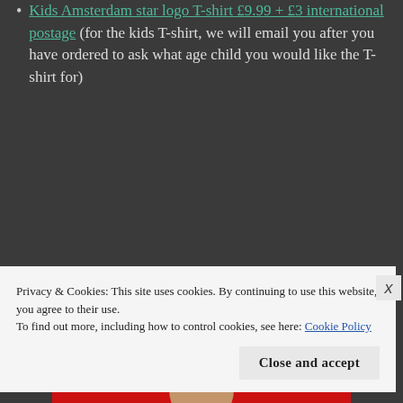Kids Amsterdam star logo T-shirt £9.99 + £3 international postage (for the kids T-shirt, we will email you after you have ordered to ask what age child you would like the T-shirt for)
[Figure (illustration): Illustration of a faceless person with white/grey hair wearing a black shirt against a red background with black band at top]
Privacy & Cookies: This site uses cookies. By continuing to use this website, you agree to their use. To find out more, including how to control cookies, see here: Cookie Policy